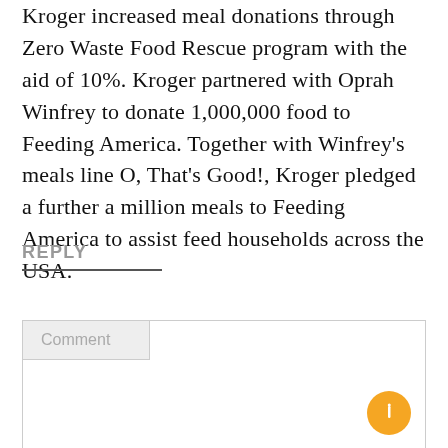Kroger increased meal donations through Zero Waste Food Rescue program with the aid of 10%. Kroger partnered with Oprah Winfrey to donate 1,000,000 food to Feeding America. Together with Winfrey's meals line O, That's Good!, Kroger pledged a further a million meals to Feeding America to assist feed households across the USA.
REPLY
Comment